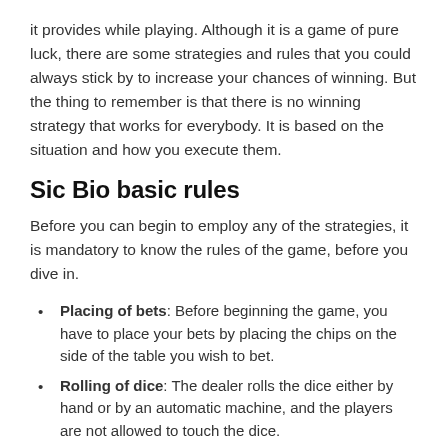it provides while playing. Although it is a game of pure luck, there are some strategies and rules that you could always stick by to increase your chances of winning. But the thing to remember is that there is no winning strategy that works for everybody. It is based on the situation and how you execute them.
Sic Bio basic rules
Before you can begin to employ any of the strategies, it is mandatory to know the rules of the game, before you dive in.
Placing of bets: Before beginning the game, you have to place your bets by placing the chips on the side of the table you wish to bet.
Rolling of dice: The dealer rolls the dice either by hand or by an automatic machine, and the players are not allowed to touch the dice.
Result: You ought to wait until the dice are rolled. If you win, then you will be paid out accordingly.
Next bet: Once you get the result, you can follow the same process to place your next bet.